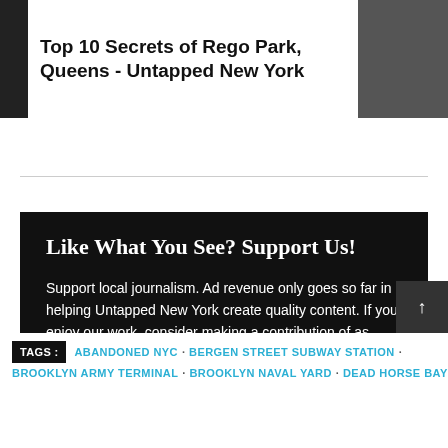Top 10 Secrets of Rego Park, Queens - Untapped New York
Like What You See? Support Us!
Support local journalism. Ad revenue only goes so far in helping Untapped New York create quality content. If you enjoy our work, consider making a contribution of as much or as little as you'd like. Thank you!
TAGS :  ABANDONED NYC · BERGEN STREET SUBWAY STATION · BROOKLYN ARMY TERMINAL · BROOKLYN NAVAL YARD · DEAD HORSE BAY